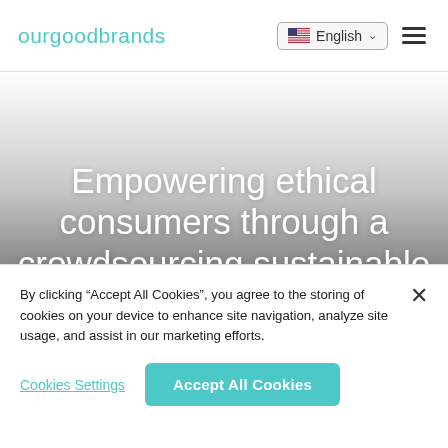ourgoodbrands | English
Empowering ethical consumers through a crowdsourcing sustainable
By clicking “Accept All Cookies”, you agree to the storing of cookies on your device to enhance site navigation, analyze site usage, and assist in our marketing efforts.
Cookies Settings
Accept All Cookies